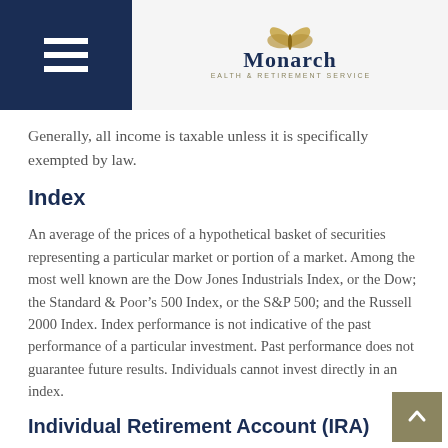Monarch Wealth & Retirement Services
Generally, all income is taxable unless it is specifically exempted by law.
Index
An average of the prices of a hypothetical basket of securities representing a particular market or portion of a market. Among the most well known are the Dow Jones Industrials Index, or the Dow; the Standard & Poor’s 500 Index, or the S&P 500; and the Russell 2000 Index. Index performance is not indicative of the past performance of a particular investment. Past performance does not guarantee future results. Individuals cannot invest directly in an index.
Individual Retirement Account (IRA)
A qualified retirement account for individuals. Contribution